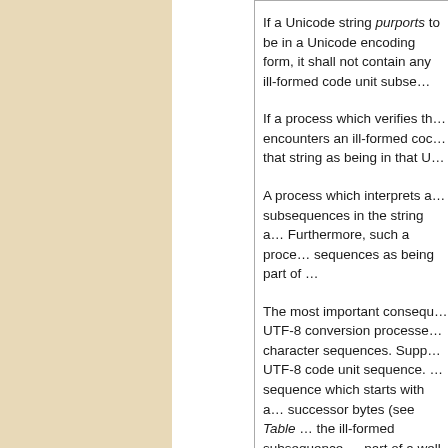If a Unicode string purports to be in a Unicode encoding form, it shall not contain any ill-formed code unit subsequences.
If a process which verifies that a Unicode string is in a particular encoding encounters an ill-formed code unit sequence, it shall not treat that string as being in that Unicode encoding form.
A process which interprets a Unicode string shall treat ill-formed code unit subsequences in the string as errors. Furthermore, such a process may not treat those sequences as being part of the Unicode Standard.
The most important consequences of these constraints apply to UTF-8 conversion processes when converting to or from illegal character sequences. Suppose a conversion process encounters a UTF-8 code unit sequence. If it encounters an ill-formed subsequence which starts with a lead byte, but then has missing or invalid successor bytes (see Table ...), it shall not pass through the ill-formed subsequence unchanged, nor shall it treat it as part of a well-formed UTF-8 code unit sequence.
If an implementation of a UT...